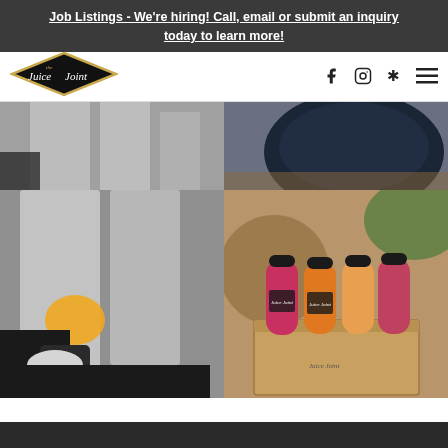Job Listings - We're hiring! Call, email or submit an inquiry today to learn more!
[Figure (logo): The Juice Joint logo — diamond-shaped black badge with gold outline and stylized script text]
[Figure (photo): Person wearing black gloves operating blender machines with yellow fruit ingredients on a commercial counter]
[Figure (photo): Close-up of a dark blue cushioned hanging chair]
[Figure (photo): Four Juice Joint branded juice bottles in a cardboard carrier box — red, orange, and pink juices with black caps]